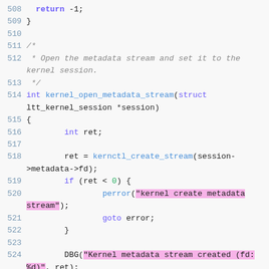[Figure (screenshot): Source code snippet showing C function kernel_open_metadata_stream, lines 508-526, with syntax highlighting. Keywords in purple, function names in blue, string literals highlighted in pink, comments in gray italic, line numbers in blue-gray.]